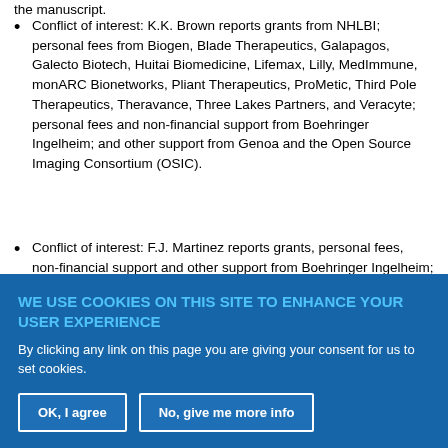the manuscript.
Conflict of interest: K.K. Brown reports grants from NHLBI; personal fees from Biogen, Blade Therapeutics, Galapagos, Galecto Biotech, Huitai Biomedicine, Lifemax, Lilly, MedImmune, monARC Bionetworks, Pliant Therapeutics, ProMetic, Third Pole Therapeutics, Theravance, Three Lakes Partners, and Veracyte; personal fees and non-financial support from Boehringer Ingelheim; and other support from Genoa and the Open Source Imaging Consortium (OSIC).
Conflict of interest: F.J. Martinez reports grants, personal fees, non-financial support and other support from Boehringer Ingelheim; personal fees, nonfinancial support and other support from AstraZeneca; non-financial support and other
WE USE COOKIES ON THIS SITE TO ENHANCE YOUR USER EXPERIENCE
By clicking any link on this page you are giving your consent for us to set cookies.
OK, I agree
No, give me more info